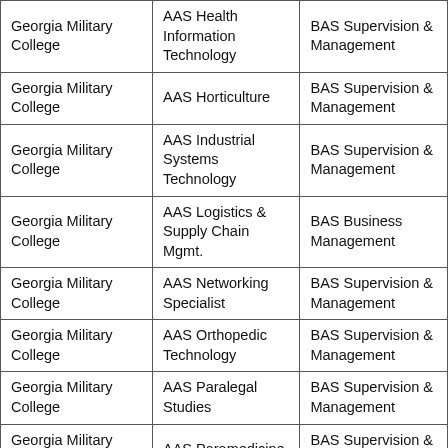| Georgia Military College | AAS Health Information Technology | BAS Supervision & Management |
| Georgia Military College | AAS Horticulture | BAS Supervision & Management |
| Georgia Military College | AAS Industrial Systems Technology | BAS Supervision & Management |
| Georgia Military College | AAS Logistics & Supply Chain Mgmt. | BAS Business Management |
| Georgia Military College | AAS Networking Specialist | BAS Supervision & Management |
| Georgia Military College | AAS Orthopedic Technology | BAS Supervision & Management |
| Georgia Military College | AAS Paralegal Studies | BAS Supervision & Management |
| Georgia Military College | AAS Paramedicine | BAS Supervision & Management |